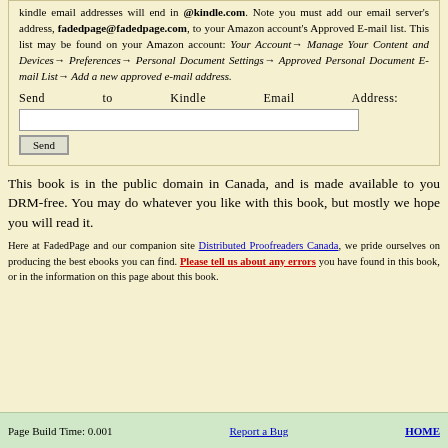kindle email addresses will end in @kindle.com. Note you must add our email server's address, fadedpage@fadedpage.com, to your Amazon account's Approved E-mail list. This list may be found on your Amazon account: Your Account→ Manage Your Content and Devices→ Preferences→ Personal Document Settings→ Approved Personal Document E-mail List→ Add a new approved e-mail address.
Send to Kindle Email Address:
[input field] [Send button]
This book is in the public domain in Canada, and is made available to you DRM-free. You may do whatever you like with this book, but mostly we hope you will read it.
Here at FadedPage and our companion site Distributed Proofreaders Canada, we pride ourselves on producing the best ebooks you can find. Please tell us about any errors you have found in this book, or in the information on this page about this book.
Page Build Time: 0.001    Report a Bug    HOME